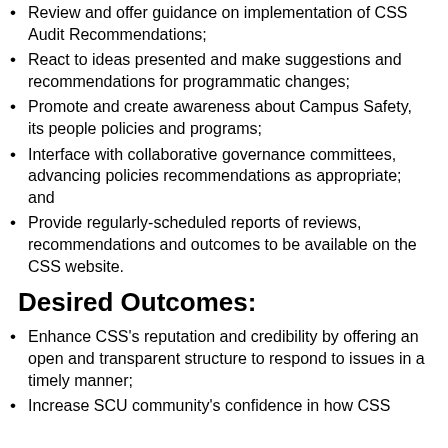Review and offer guidance on implementation of CSS Audit Recommendations;
React to ideas presented and make suggestions and recommendations for programmatic changes;
Promote and create awareness about Campus Safety, its people policies and programs;
Interface with collaborative governance committees, advancing policies recommendations as appropriate; and
Provide regularly-scheduled reports of reviews, recommendations and outcomes to be available on the CSS website.
Desired Outcomes:
Enhance CSS's reputation and credibility by offering an open and transparent structure to respond to issues in a timely manner;
Increase SCU community's confidence in how CSS